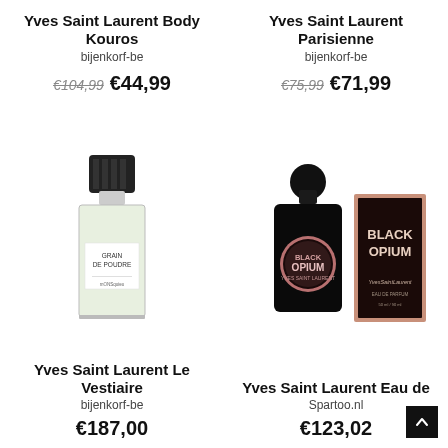Yves Saint Laurent Body Kouros
bijenkorf-be
€104,99  €44,99
Yves Saint Laurent Parisienne
bijenkorf-be
€75,99  €71,99
[Figure (photo): Yves Saint Laurent Grain de Poudre perfume bottle, clear glass with black cap, label reads GRAIN DE POUDRE]
[Figure (photo): Yves Saint Laurent Black Opium perfume bottle (black glitter bottle with rose gold circular label) next to Black Opium product box (rose gold and black with YSL logo)]
Yves Saint Laurent Le Vestiaire
bijenkorf-be
€187,00
Yves Saint Laurent Eau de
Spartoo.nl
€123,02